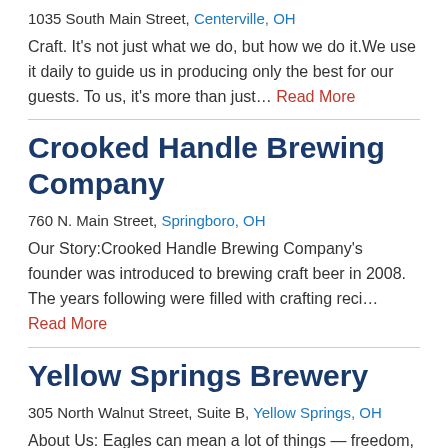1035 South Main Street, Centerville, OH
Craft. It's not just what we do, but how we do it.We use it daily to guide us in producing only the best for our guests. To us, it's more than just… Read More
Crooked Handle Brewing Company
760 N. Main Street, Springboro, OH
Our Story:Crooked Handle Brewing Company's founder was introduced to brewing craft beer in 2008. The years following were filled with crafting reci… Read More
Yellow Springs Brewery
305 North Walnut Street, Suite B, Yellow Springs, OH
About Us: Eagles can mean a lot of things — freedom, strength, vision — but to Yellow Springs Brewery, the